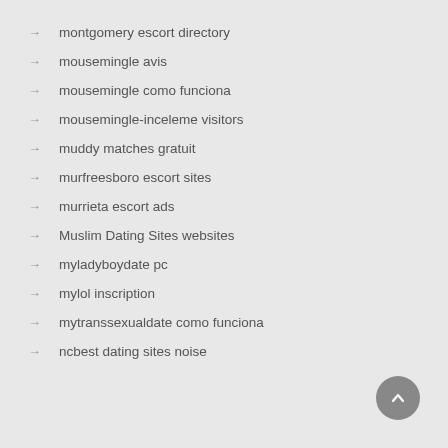montgomery escort directory
mousemingle avis
mousemingle como funciona
mousemingle-inceleme visitors
muddy matches gratuit
murfreesboro escort sites
murrieta escort ads
Muslim Dating Sites websites
myladyboydate pc
mylol inscription
mytranssexualdate como funciona
ncbest dating sites noise